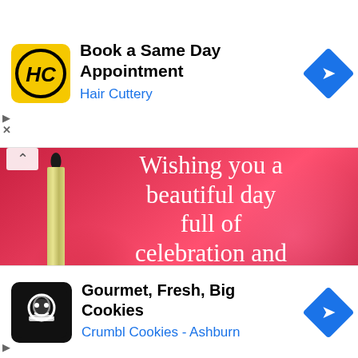[Figure (screenshot): Top advertisement banner for Hair Cuttery with yellow HC logo, text 'Book a Same Day Appointment' and 'Hair Cuttery' in blue, blue diamond navigation arrow on right, play and X controls on left]
[Figure (photo): Birthday greeting image with red/pink background, birthday candle on left, white serif text reading 'Wishing you a beautiful day full of celebration and cheer. Happy birthday' (partially visible at bottom). Chevron-up icon top left, X close button bottom right.]
[Figure (screenshot): Bottom advertisement banner for Crumbl Cookies with black cookie logo, text 'Gourmet, Fresh, Big Cookies' and 'Crumbl Cookies - Ashburn' in blue, blue diamond navigation arrow on right, play control on left]